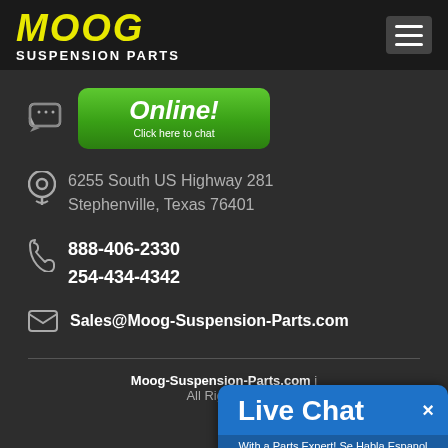MOOG SUSPENSION PARTS
[Figure (screenshot): Green 'Online! Click here to chat' button with chat icon]
6255 South US Highway 281
Stephenville, Texas 76401
888-406-2330
254-434-4342
Sales@Moog-Suspension-Parts.com
Moog-Suspension-Parts.com | All Rights Reserved
[Figure (screenshot): Live Chat overlay with 'With a Parts Expert! Se Habla Espanol' subtitle]